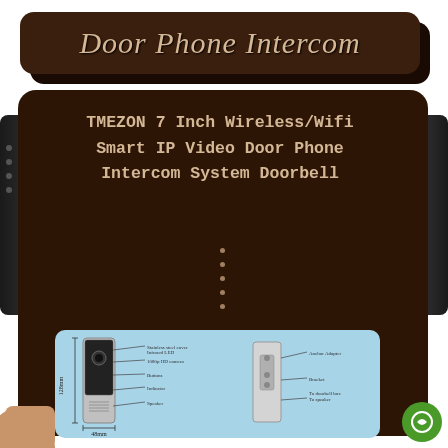Door Phone Intercom
TMEZON 7 Inch Wireless/Wifi Smart IP Video Door Phone Intercom System Doorbell
[Figure (engineering-diagram): Technical diagram of a video door phone/intercom unit showing front view with dimensions (128mm height, 48mm width) and labeled components including camera, buttons, speaker, microphone, and back view showing anchor adapter, bracket, and wire connections]